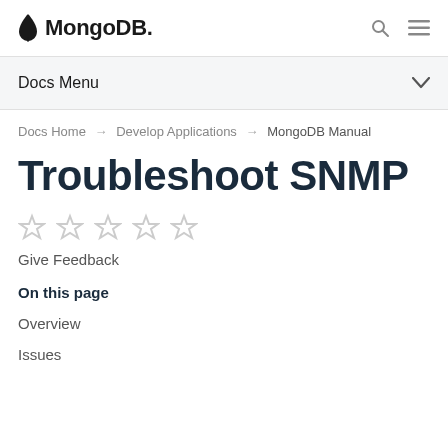MongoDB
Docs Menu
Docs Home → Develop Applications → MongoDB Manual
Troubleshoot SNMP
Give Feedback
On this page
Overview
Issues